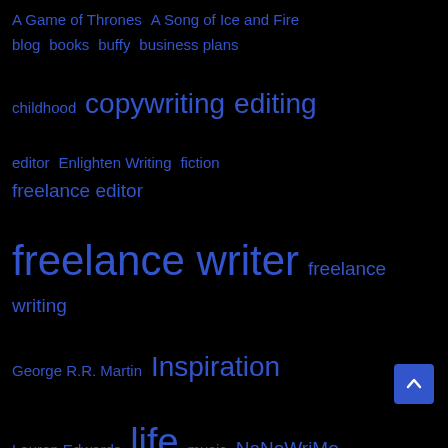[Figure (other): Tag cloud on black background with blue links of varying sizes representing topics: A Game of Thrones, A Song of Ice and Fire, blog, books, buffy, business plans, childhood, copywriting, editing, editor, Enlighten Writing, fiction, freelance editor, freelance writer, freelance writing, George R.R. Martin, Inspiration, Lauren Edwards, life, music, NaNoWriMo, Natalia Sylvester, National Novel Writing Month, networking, Neuromancer, novel, novelist, novels, Portland, promotion, science fiction]